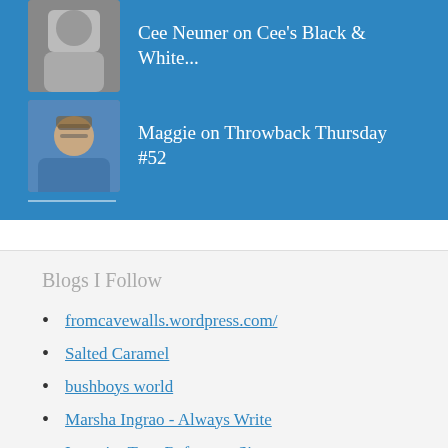Cee Neuner on Cee's Black & White...
[Figure (photo): Grayscale avatar photo of a person]
Maggie on Throwback Thursday #52
[Figure (photo): Color avatar photo of a woman with glasses]
Blogs I Follow
fromcavewalls.wordpress.com/
Salted Caramel
bushboys world
Marsha Ingrao - Always Write
Integrity Toys Reference Site
The AIM Network
Quirky Sights